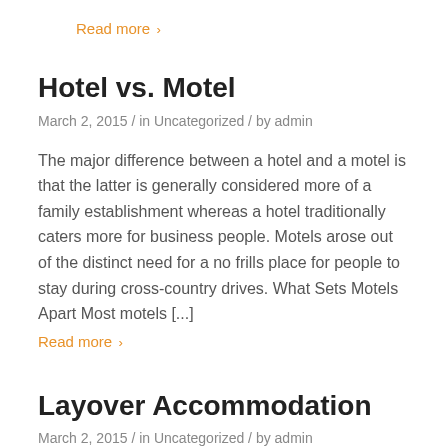Read more >
Hotel vs. Motel
March 2, 2015  /  in Uncategorized  /  by admin
The major difference between a hotel and a motel is that the latter is generally considered more of a family establishment whereas a hotel traditionally caters more for business people. Motels arose out of the distinct need for a no frills place for people to stay during cross-country drives. What Sets Motels Apart Most motels [...]
Read more >
Layover Accommodation
March 2, 2015  /  in Uncategorized  /  by admin